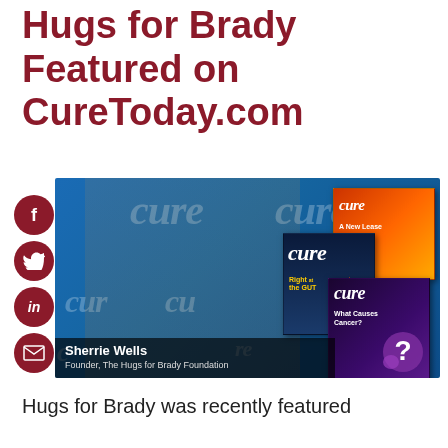Hugs for Brady Featured on CureToday.com
[Figure (screenshot): Video screenshot showing Sherrie Wells, Founder of The Hugs for Brady Foundation, being interviewed against a blue background with CURE magazine covers displayed. Social media sharing buttons (Facebook, Twitter, LinkedIn, Email) are shown on the left side.]
Hugs for Brady was recently featured